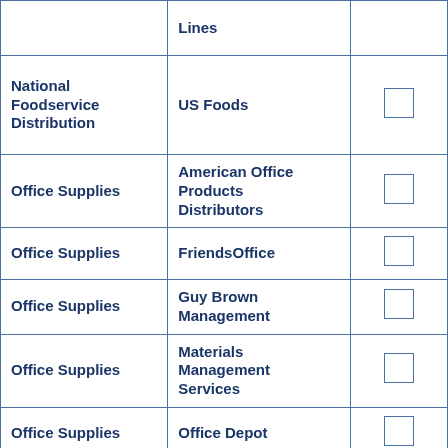| Category | Vendor | Select |
| --- | --- | --- |
|  | Lines |  |
| National Foodservice Distribution | US Foods | ☐ |
| Office Supplies | American Office Products Distributors | ☐ |
| Office Supplies | FriendsOffice | ☐ |
| Office Supplies | Guy Brown Management | ☐ |
| Office Supplies | Materials Management Services | ☐ |
| Office Supplies | Office Depot | ☐ |
| Office Supplies | Staples | ☐ |
| Office Supplies |  | ☐ |